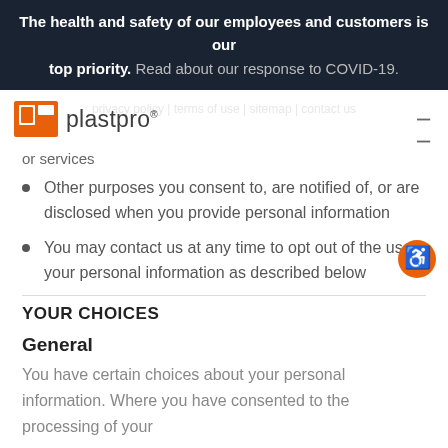The health and safety of our employees and customers is our top priority. Read about our response to COVID-19.
[Figure (logo): Plastpro logo with orange door icon and text 'plastpro']
or services
Other purposes you consent to, are notified of, or are disclosed when you provide personal information
You may contact us at any time to opt out of the use your personal information as described below
YOUR CHOICES
General
You have certain choices about your personal information. Where you have consented to the processing of your